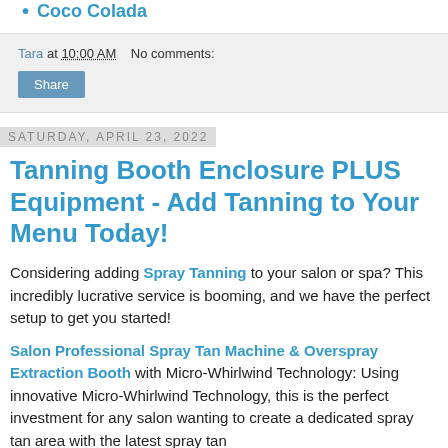Coco Colada
Tara at 10:00 AM   No comments:
Share
Saturday, April 23, 2022
Tanning Booth Enclosure PLUS Equipment - Add Tanning to Your Menu Today!
Considering adding Spray Tanning to your salon or spa? This incredibly lucrative service is booming, and we have the perfect setup to get you started!
Salon Professional Spray Tan Machine & Overspray Extraction Booth with Micro-Whirlwind Technology: Using innovative Micro-Whirlwind Technology, this is the perfect investment for any salon wanting to create a dedicated spray tan area with the latest spray tan